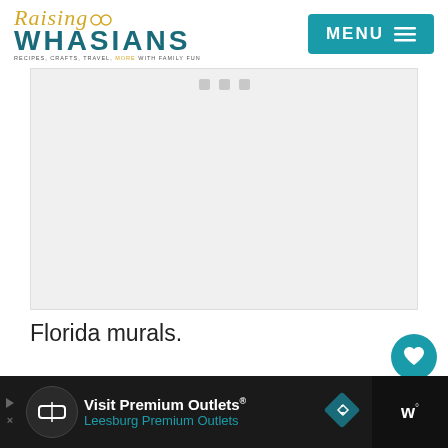Raising Whasians | RECIPES, CRAFTS, TRAVEL, MORE WITH FAMILY FUN
[Figure (screenshot): Gray placeholder/loading image area with three small gray square dots at the top center, representing an ad or image that has not yet loaded.]
Florida murals.
[Figure (infographic): Side floating buttons: teal heart/like button with count 703, and a white share button with share icon.]
[Figure (screenshot): Bottom advertisement bar on dark background: Visit Premium Outlets® Leesburg Premium Outlets, with circular logo, diamond directional icon, and dark right section with 'W' branding.]